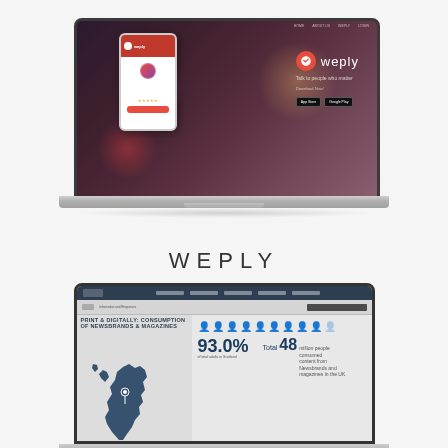[Figure (screenshot): Laptop displaying Weply app website with a phone mockup inside, on a dark blurred background. Shows Weply logo, tagline, and App Store/Google Play download buttons.]
WEPLY
[Figure (screenshot): Laptop showing a data dashboard with title 'PRINT & DIGITALLY: CONSUMPTION OF NEWSBRANDS & MAGAZINES', featuring a map of Scotland, people icons, 93.0% statistic, and 48 million figure.]